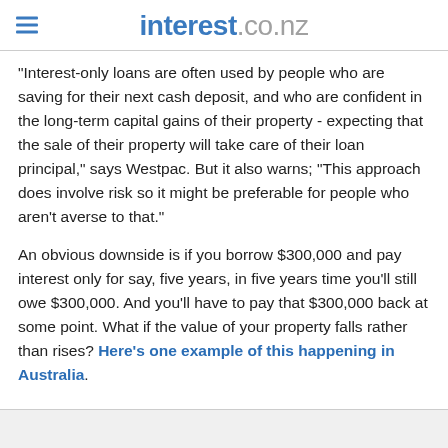interest.co.nz
"Interest-only loans are often used by people who are saving for their next cash deposit, and who are confident in the long-term capital gains of their property - expecting that the sale of their property will take care of their loan principal," says Westpac. But it also warns; "This approach does involve risk so it might be preferable for people who aren't averse to that."
An obvious downside is if you borrow $300,000 and pay interest only for say, five years, in five years time you'll still owe $300,000. And you'll have to pay that $300,000 back at some point. What if the value of your property falls rather than rises? Here's one example of this happening in Australia.